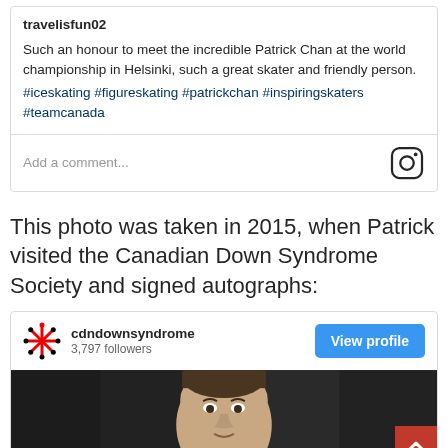[Figure (screenshot): Instagram post by travelisfun02 with username, post text about meeting Patrick Chan at world championship in Helsinki, hashtags, and comment input bar with Instagram icon]
This photo was taken in 2015, when Patrick visited the Canadian Down Syndrome Society and signed autographs:
[Figure (screenshot): Instagram profile card for cdndownsyndrome with 3,797 followers, View profile button, and a photo of a man (Patrick Chan) at bottom]